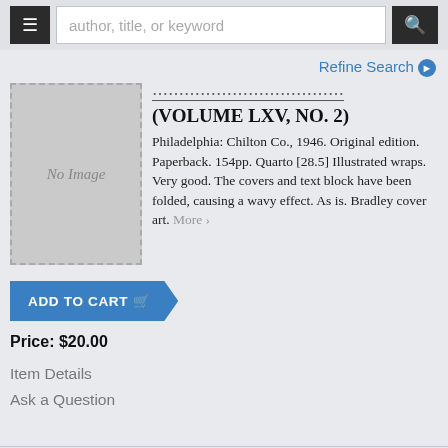author, title, or keyword
Refine Search
[Figure (other): Book cover placeholder showing 'No Image' text on grey background with dashed border]
... (VOLUME LXV, NO. 2)
Philadelphia: Chilton Co., 1946. Original edition. Paperback. 154pp. Quarto [28.5] Illustrated wraps. Very good. The covers and text block have been folded, causing a wavy effect. As is. Bradley cover art. More ›
ADD TO CART
Price: $20.00
Item Details
Ask a Question